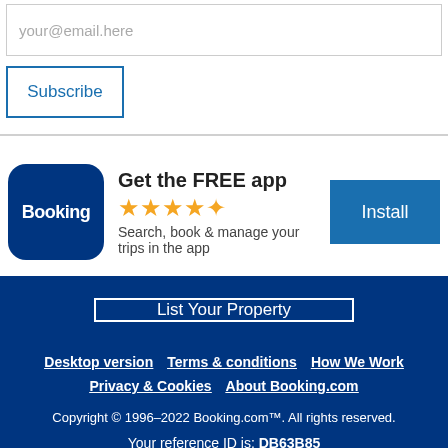your@email.here
Subscribe
[Figure (logo): Booking.com app logo — dark blue rounded square with white text 'Booking']
Get the FREE app
★★★★½
Search, book & manage your trips in the app
Install
List Your Property
Desktop version   Terms & conditions   How We Work
Privacy & Cookies   About Booking.com
Copyright © 1996–2022 Booking.com™. All rights reserved.
Your reference ID is: DB63B85